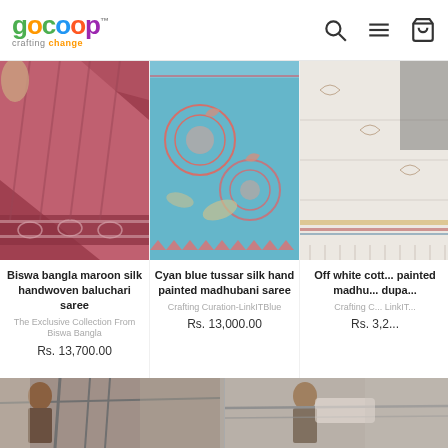GoCoop - Crafting Change
[Figure (photo): Biswa bangla maroon silk handwoven baluchari saree product image]
Biswa bangla maroon silk handwoven baluchari saree
The Exclusive Collection From Biswa Bangla
Rs. 13,700.00
[Figure (photo): Cyan blue tussar silk hand painted madhubani saree product image]
Cyan blue tussar silk hand painted madhubani saree
Crafting Curation-LinkITBlue
Rs. 13,000.00
[Figure (photo): Off white cotton hand painted madhubani dupatta product image (partially visible)]
Off white cott... painted madhu... dupa...
Crafting C... LinkIT...
Rs. 3,2...
[Figure (photo): Two artisan/craftworker photos at bottom of page]